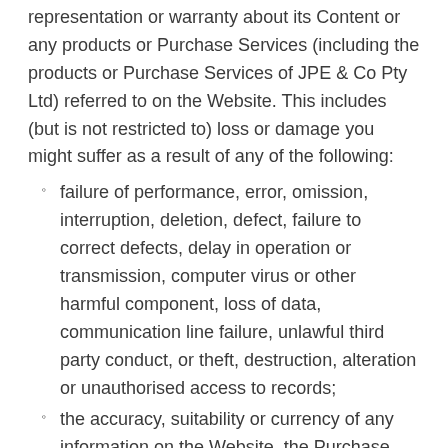representation or warranty about its Content or any products or Purchase Services (including the products or Purchase Services of JPE & Co Pty Ltd) referred to on the Website. This includes (but is not restricted to) loss or damage you might suffer as a result of any of the following:
failure of performance, error, omission, interruption, deletion, defect, failure to correct defects, delay in operation or transmission, computer virus or other harmful component, loss of data, communication line failure, unlawful third party conduct, or theft, destruction, alteration or unauthorised access to records;
the accuracy, suitability or currency of any information on the Website, the Purchase Service, or any of its Content related products (including third party material and advertisements on the Website);
costs incurred as a result of you using the Website,